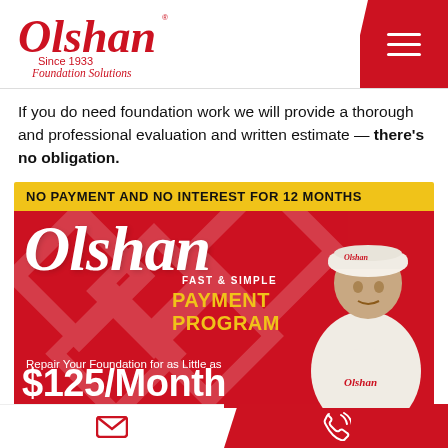[Figure (logo): Olshan Foundation Solutions logo in red script, Since 1933]
If you do need foundation work we will provide a thorough and professional evaluation and written estimate — there's no obligation.
[Figure (infographic): Olshan Fast & Simple Payment Program ad. Red background with worker in hard hat. Yellow top bar: NO PAYMENT AND NO INTEREST FOR 12 MONTHS. White script Olshan logo. Yellow text: FAST & SIMPLE PAYMENT PROGRAM. White text: Repair Your Foundation for as Little as $125/Month]
Email icon | Phone icon